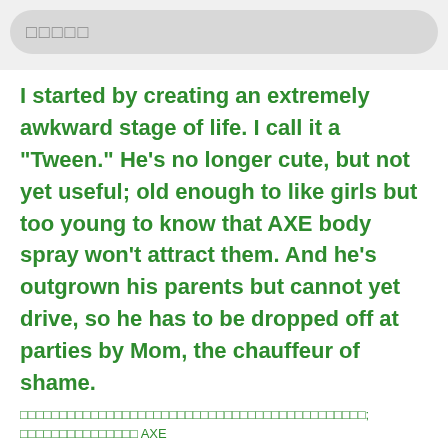□□□□□
I started by creating an extremely awkward stage of life. I call it a "Tween." He's no longer cute, but not yet useful; old enough to like girls but too young to know that AXE body spray won't attract them. And he's outgrown his parents but cannot yet drive, so he has to be dropped off at parties by Mom, the chauffeur of shame.
□□□□□□□□□□□□□□□□□□□□□□□□□□□□□□□□□□□□□□□□□□□□; □□□□□□□□□□□□□□□ AXE □□□□□□□□□□□□□□□□□□□□□□□□□□□□□□□□□□□□□□□□□□□□□□□□□□□□□□
That does sound dreadful.
□□□□□□□□□